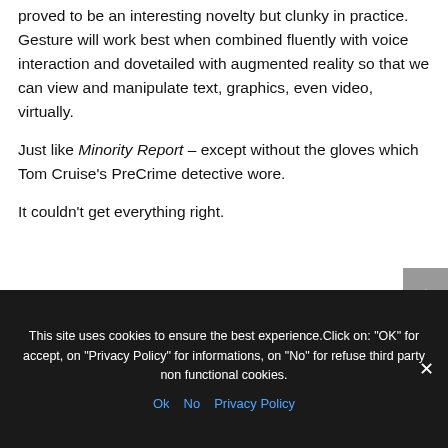proved to be an interesting novelty but clunky in practice. Gesture will work best when combined fluently with voice interaction and dovetailed with augmented reality so that we can view and manipulate text, graphics, even video, virtually.
Just like Minority Report – except without the gloves which Tom Cruise's PreCrime detective wore.
It couldn't get everything right.
This site uses cookies to ensure the best experience.Click on: "OK" for accept, on "Privacy Policy" for informations, on "No" for refuse third party non functional cookies.